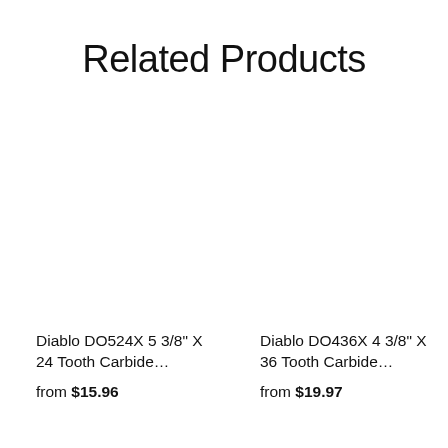Related Products
Diablo DO524X 5 3/8" X 24 Tooth Carbide…
from $15.96
Diablo DO436X 4 3/8" X 36 Tooth Carbide…
from $19.97